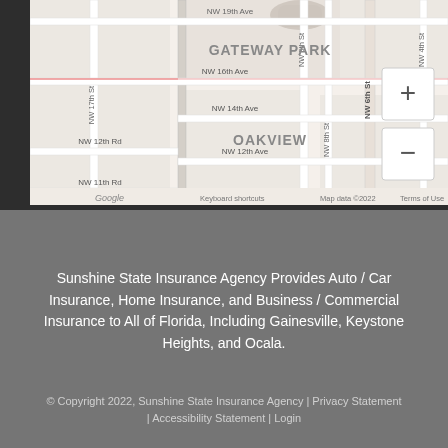[Figure (map): Google Maps screenshot showing Gateway Park and Oakview neighborhoods in Gainesville/NW Florida area. Shows street grid with NW 19th Ave, NW 16th Ave, NW 14th Ave, NW 12th Rd, NW 12th Ave, NW 11th Rd, NW 17th St, NW 9th St, NW 8th St, NW 6th St, NW 4th St. Zoom controls (+/-) visible in upper right. Google logo and map attribution visible at bottom left.]
Sunshine State Insurance Agency Provides Auto / Car Insurance, Home Insurance, and Business / Commercial Insurance to All of Florida, Including Gainesville, Keystone Heights, and Ocala.
© Copyright 2022, Sunshine State Insurance Agency | Privacy Statement | Accessibility Statement | Login